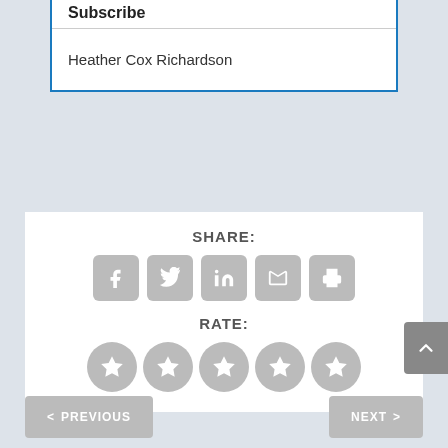Subscribe
Heather Cox Richardson
SHARE:
[Figure (infographic): Row of five share icon buttons: Facebook, Twitter, LinkedIn, Email, Print — all in grey rounded squares]
RATE:
[Figure (infographic): Row of five grey star rating circles]
< PREVIOUS
NEXT >